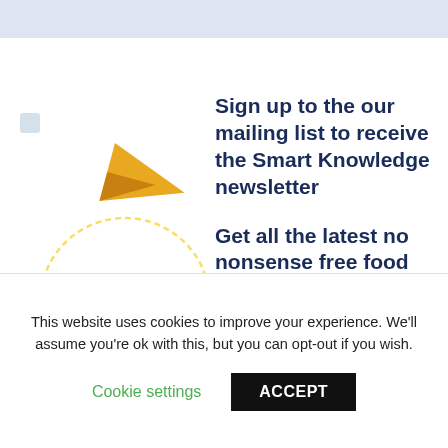[Figure (illustration): Paper airplane illustration with multiple paper planes and a circular arrow, light blue and gold colors on white background with decorative squares]
Sign up to the our mailing list to receive the Smart Knowledge newsletter
Get all the latest no nonsense free food safety compliance articles direct to your inbox
This website uses cookies to improve your experience. We'll assume you're ok with this, but you can opt-out if you wish.
Cookie settings   ACCEPT